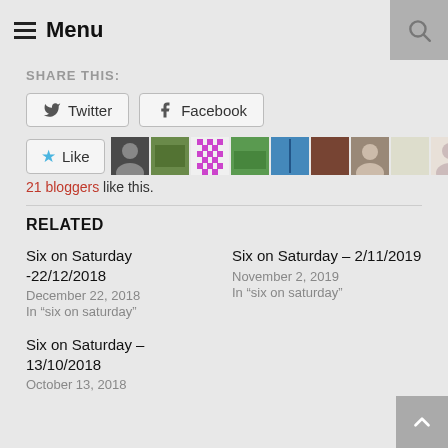≡ Menu
SHARE THIS:
Twitter  Facebook
★ Like  [21 blogger avatars]
21 bloggers like this.
RELATED
Six on Saturday -22/12/2018
December 22, 2018
In "six on saturday"
Six on Saturday – 2/11/2019
November 2, 2019
In "six on saturday"
Six on Saturday – 13/10/2018
October 13, 2018